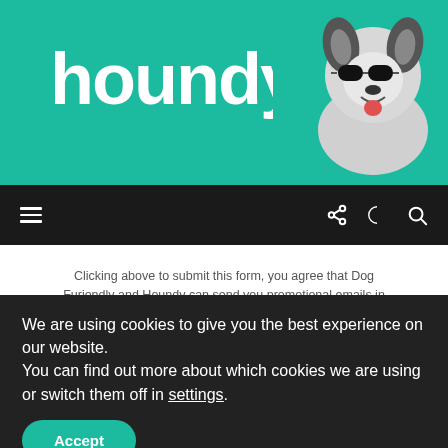[Figure (logo): Houndy website logo with teal background, white text 'houndy.' with paw print replacing letter 'o', and a Siberian Husky dog wearing sunglasses on the right side]
Navigation bar with hamburger menu, share icon, dark mode toggle, and search icon
Clicking above to submit this form, you agree that Dog Furiendly and Houndy can send you promotional emails in accordance with Dog Furiendly's Privacy Policy and acknowledge that the information you provide will be transferred to Mailchimp for processing in accordance with Mailchimp's Privacy Policy and Terms.
FIND US ON FACEBOOK
We are using cookies to give you the best experience on our website.
You can find out more about which cookies we are using or switch them off in settings.
Accept